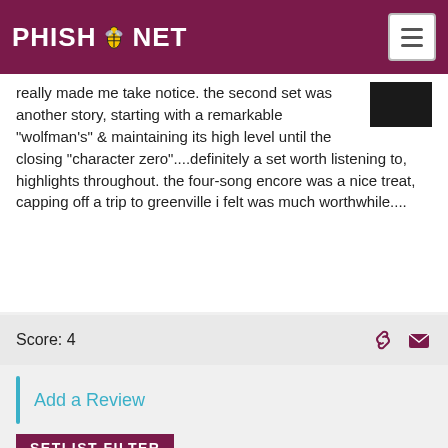PHISH.NET
really made me take notice. the second set was another story, starting with a remarkable "wolfman's" & maintaining its high level until the closing "character zero"....definitely a set worth listening to, highlights throughout. the four-song encore was a nice treat, capping off a trip to greenville i felt was much worthwhile....
Score: 4
Add a Review
SETLIST FILTER
By year: --
By month: --